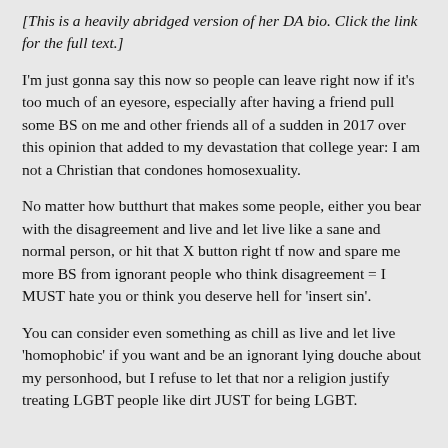[This is a heavily abridged version of her DA bio. Click the link for the full text.]
I'm just gonna say this now so people can leave right now if it's too much of an eyesore, especially after having a friend pull some BS on me and other friends all of a sudden in 2017 over this opinion that added to my devastation that college year: I am not a Christian that condones homosexuality.
No matter how butthurt that makes some people, either you bear with the disagreement and live and let live like a sane and normal person, or hit that X button right tf now and spare me more BS from ignorant people who think disagreement = I MUST hate you or think you deserve hell for 'insert sin'.
You can consider even something as chill as live and let live 'homophobic' if you want and be an ignorant lying douche about my personhood, but I refuse to let that nor a religion justify treating LGBT people like dirt JUST for being LGBT.